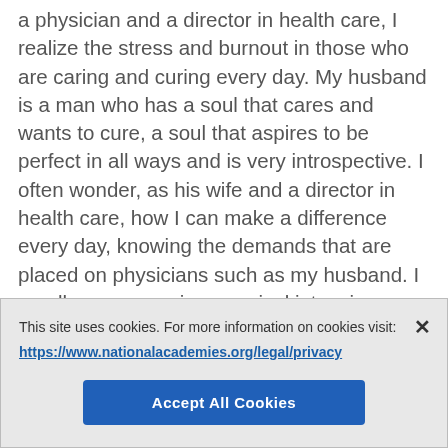a physician and a director in health care, I realize the stress and burnout in those who are caring and curing every day. My husband is a man who has a soul that cares and wants to cure, a soul that aspires to be perfect in all ways and is very introspective. I often wonder, as his wife and a director in health care, how I can make a difference every day, knowing the demands that are placed on physicians such as my husband. I recall, as a nurse in a surgical intensive care unit 20 years ago, our senior
This site uses cookies. For more information on cookies visit: https://www.nationalacademies.org/legal/privacy
Accept All Cookies